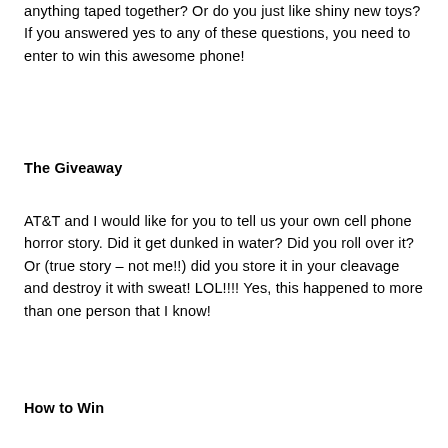anything taped together? Or do you just like shiny new toys? If you answered yes to any of these questions, you need to enter to win this awesome phone!
The Giveaway
AT&T and I would like for you to tell us your own cell phone horror story. Did it get dunked in water? Did you roll over it? Or (true story – not me!!) did you store it in your cleavage and destroy it with sweat! LOL!!!! Yes, this happened to more than one person that I know!
How to Win